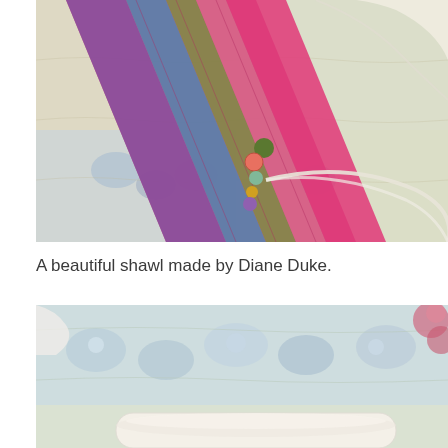[Figure (photo): Close-up photograph of a colorful knitted/crocheted shawl with multicolor stripes (blue, green, yellow, pink, purple) and decorative beads, laid on a floral quilted background with a white lace element.]
A beautiful shawl made by Diane Duke.
[Figure (photo): Photograph of a floral quilted fabric/quilt laid flat, with a rolled white fabric piece at the bottom edge, and hints of pink flowers at the top right corner.]